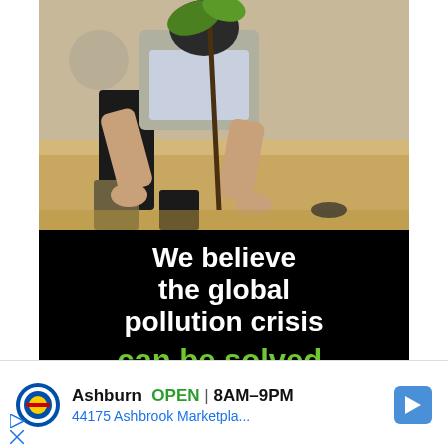[Figure (photo): Person in boots and vest kneeling on sandy ground, planting a small tree sapling with both hands]
We believe the global pollution crisis can be solved.
In a world where pollution
[Figure (other): Lidl advertisement banner showing: Ashburn OPEN 8AM-9PM, 44175 Ashbrook Marketpla... with Lidl logo and navigation arrow icon]